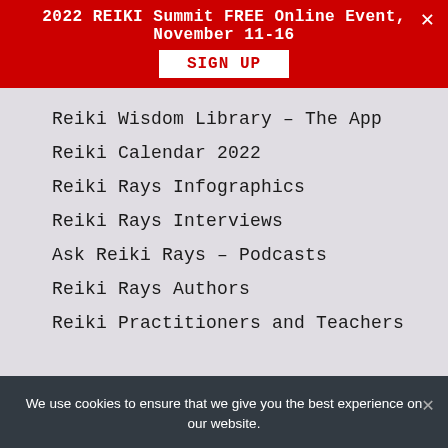2022 REIKI Summit FREE Online Event, November 11-16 SIGN UP
Reiki Wisdom Library – The App
Reiki Calendar 2022
Reiki Rays Infographics
Reiki Rays Interviews
Ask Reiki Rays – Podcasts
Reiki Rays Authors
Reiki Practitioners and Teachers
Contact Us
contact@reiki...
We use cookies to ensure that we give you the best experience on our website.
Ok   Privacy policy